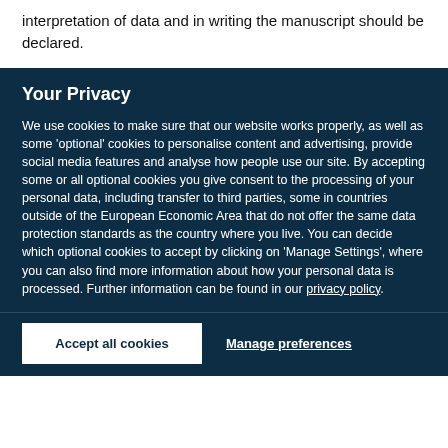interpretation of data and in writing the manuscript should be declared.
Your Privacy
We use cookies to make sure that our website works properly, as well as some 'optional' cookies to personalise content and advertising, provide social media features and analyse how people use our site. By accepting some or all optional cookies you give consent to the processing of your personal data, including transfer to third parties, some in countries outside of the European Economic Area that do not offer the same data protection standards as the country where you live. You can decide which optional cookies to accept by clicking on 'Manage Settings', where you can also find more information about how your personal data is processed. Further information can be found in our privacy policy.
Accept all cookies
Manage preferences